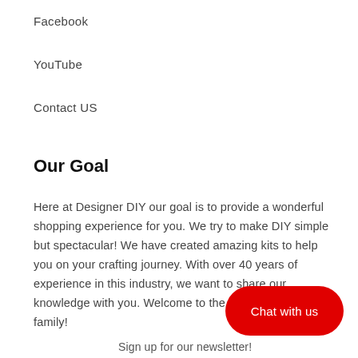Facebook
YouTube
Contact US
Our Goal
Here at Designer DIY our goal is to provide a wonderful shopping experience for you. We try to make DIY simple but spectacular! We have created amazing kits to help you on your crafting journey. With over 40 years of experience in this industry, we want to share our knowledge with you. Welcome to the Designer DIY family!
[Figure (other): Red rounded rectangle chat button with white text 'Chat with us']
Sign up for our newsletter!